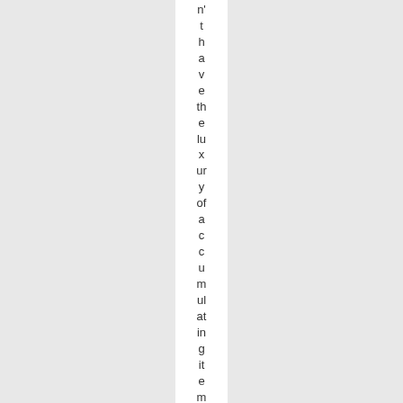n't have the luxury of accumulating items that